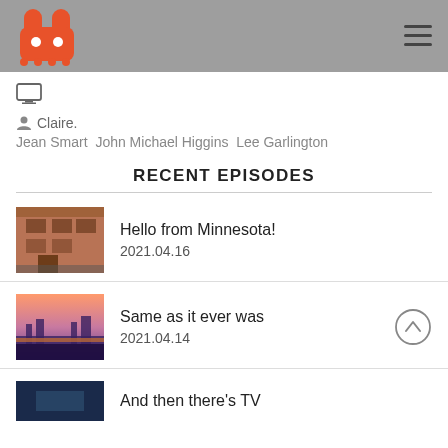Rabbit logo navigation header with hamburger menu
[Figure (screenshot): Monitor/desktop icon]
Claire.
Jean Smart  John Michael Higgins  Lee Garlington
RECENT EPISODES
Hello from Minnesota! 2021.04.16
Same as it ever was 2021.04.14
And then there's TV